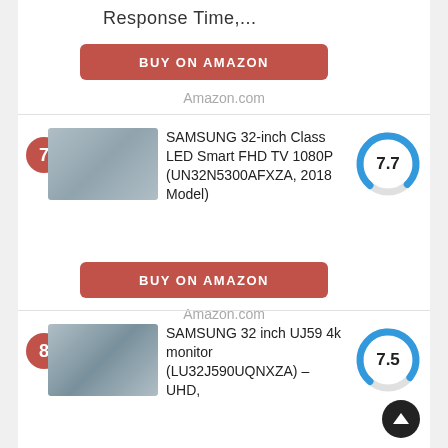Response Time,...
BUY ON AMAZON
Amazon.com
SAMSUNG 32-inch Class LED Smart FHD TV 1080P (UN32N5300AFXZA, 2018 Model)
[Figure (other): Score dial showing 7.7 out of 10 with blue arc]
BUY ON AMAZON
Amazon.com
SAMSUNG 32 inch UJ59 4k monitor (LU32J590UQNXZA) – UHD,
[Figure (other): Score dial showing 7.5 out of 10 with blue arc]